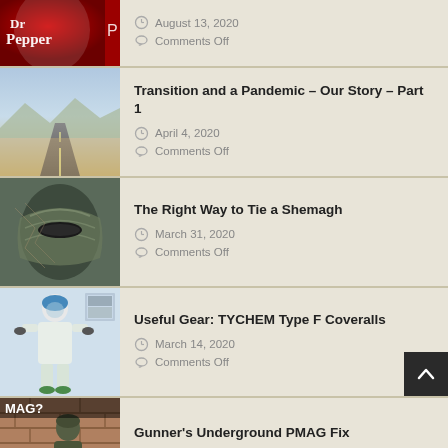[Figure (photo): Dr Pepper can closeup, red, partial view]
August 13, 2020
Comments Off
[Figure (photo): Desert highway road stretching into distance]
Transition and a Pandemic – Our Story – Part 1
April 4, 2020
Comments Off
[Figure (photo): Person wearing a shemagh headwrap]
The Right Way to Tie a Shemagh
March 31, 2020
Comments Off
[Figure (photo): Person in TYCHEM Type F Coveralls hazmat suit]
Useful Gear: TYCHEM Type F Coveralls
March 14, 2020
Comments Off
[Figure (photo): Meme image with soldier, text MAG? NO PROB]
Gunner’s Underground PMAG Fix
May 15, 2018
Comments Off